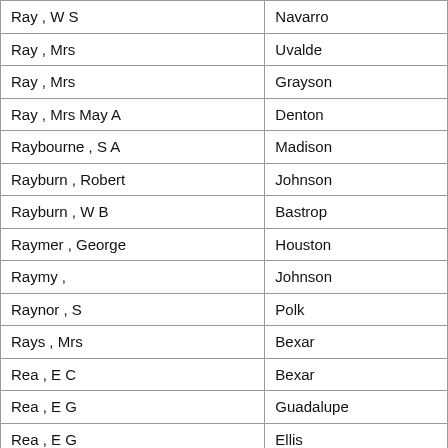| Ray , W S | Navarro |
| Ray , Mrs | Uvalde |
| Ray , Mrs | Grayson |
| Ray , Mrs May A | Denton |
| Raybourne , S A | Madison |
| Rayburn , Robert | Johnson |
| Rayburn , W B | Bastrop |
| Raymer , George | Houston |
| Raymy , | Johnson |
| Raynor , S | Polk |
| Rays , Mrs | Bexar |
| Rea , E C | Bexar |
| Rea , E G | Guadalupe |
| Rea , E G | Ellis |
| Rea , Handy | Ellis |
| Rea , Handy | Bexar |
| Rea , Tlitha | Anderson |